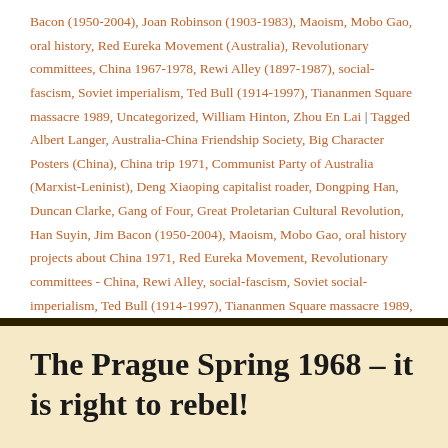Bacon (1950-2004), Joan Robinson (1903-1983), Maoism, Mobo Gao, oral history, Red Eureka Movement (Australia), Revolutionary committees, China 1967-1978, Rewi Alley (1897-1987), social-fascism, Soviet imperialism, Ted Bull (1914-1997), Tiananmen Square massacre 1989, Uncategorized, William Hinton, Zhou En Lai | Tagged Albert Langer, Australia-China Friendship Society, Big Character Posters (China), China trip 1971, Communist Party of Australia (Marxist-Leninist), Deng Xiaoping capitalist roader, Dongping Han, Duncan Clarke, Gang of Four, Great Proletarian Cultural Revolution, Han Suyin, Jim Bacon (1950-2004), Maoism, Mobo Gao, oral history projects about China 1971, Red Eureka Movement, Revolutionary committees - China, Rewi Alley, social-fascism, Soviet social-imperialism, Ted Bull (1914-1997), Tiananmen Square massacre 1989, William Hinton, Zhou Enlai | 1 Comment
The Prague Spring 1968 – it is right to rebel!